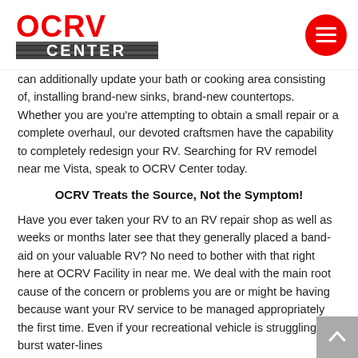OCRV CENTER
can additionally update your bath or cooking area consisting of, installing brand-new sinks, brand-new countertops. Whether you are you’re attempting to obtain a small repair or a complete overhaul, our devoted craftsmen have the capability to completely redesign your RV. Searching for RV remodel near me Vista, speak to OCRV Center today.
OCRV Treats the Source, Not the Symptom!
Have you ever taken your RV to an RV repair shop as well as weeks or months later see that they generally placed a band-aid on your valuable RV? No need to bother with that right here at OCRV Facility in near me. We deal with the main root cause of the concern or problems you are or might be having because want your RV service to be managed appropriately the first time. Even if your recreational vehicle is struggling with burst water-lines